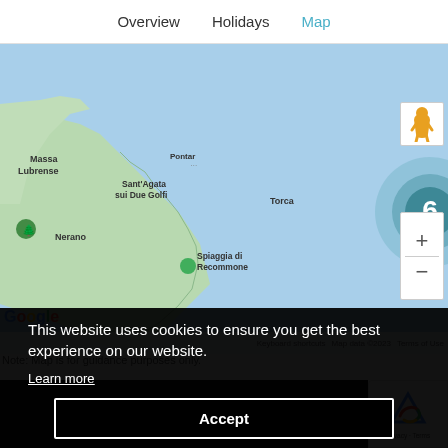Overview  Holidays  Map
[Figure (map): Google Maps view of the Amalfi Coast area near Massa Lubrense, Sant'Agata sui Due Golfi, Torca, Nerano, and Spiaggia di Recommone. Map shows blue sea and green land. Cluster markers show '6' and '2'. Pegman icon, zoom controls, Google logo, and map attribution are visible.]
Note: Map is for guidance purposes only.
This website uses cookies to ensure you get the best experience on our website.
Learn more
Accept